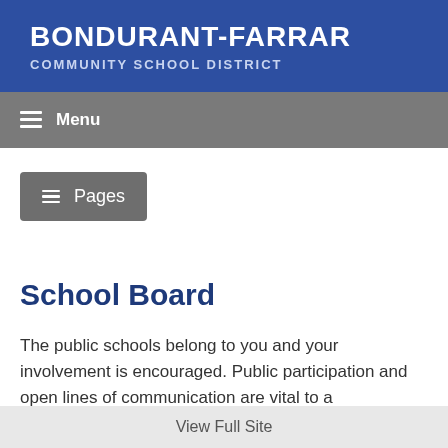BONDURANT-FARRAR COMMUNITY SCHOOL DISTRICT
Menu
[Figure (screenshot): Pages navigation button with hamburger icon]
School Board
The public schools belong to you and your involvement is encouraged. Public participation and open lines of communication are vital to a
View Full Site